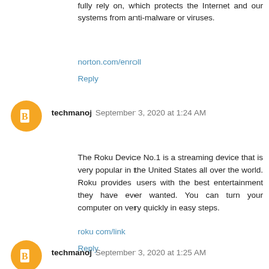fully rely on, which protects the Internet and our systems from anti-malware or viruses.
norton.com/enroll
Reply
[Figure (illustration): Orange circular avatar with blogger 'B' logo icon]
techmanoj September 3, 2020 at 1:24 AM
The Roku Device No.1 is a streaming device that is very popular in the United States all over the world. Roku provides users with the best entertainment they have ever wanted. You can turn your computer on very quickly in easy steps.
roku com/link
Reply
[Figure (illustration): Orange circular avatar with blogger 'B' logo icon (partially visible)]
techmanoj September 3, 2020 at 1:25 AM